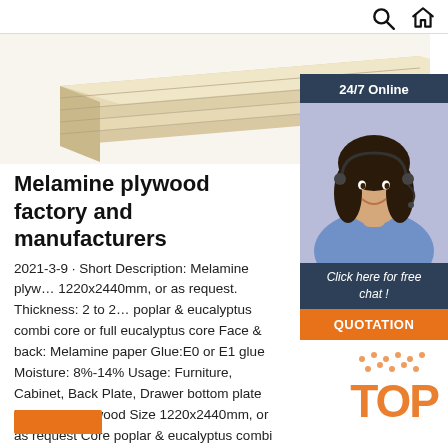Search | Home
[Figure (photo): Stack of melamine plywood boards viewed from the side, showing layered edges, light wood color]
[Figure (photo): 24/7 Online banner with female customer service agent wearing headset, smiling. Below: 'Click here for free chat!' and orange QUOTATION button.]
Melamine plywood factory and manufacturers
2021-3-9 · Short Description: Melamine plywood Size 1220x2440mm, or as request. Thickness: 2 to 25mm Core: poplar & eucalyptus combi core or full eucalyptus core Face & back: Melamine paper Glue:E0 or E1 glue Moisture: 8%-14% Usage: Furniture, Cabinet, Back Plate, Drawer bottom plate Melamine plywood Size 1220x2440mm, or as request Core poplar & eucalyptus combi core or full eucalyptus ...